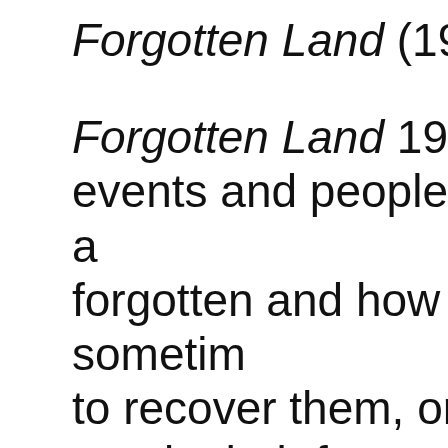Forgotten Land (1981)
Forgotten Land 1981 explores me events and people that over time a forgotten and how people sometim to recover them, or a sense of the regain their former power and valu itself is inspired and based on a pa women on a beach by the Norweg Expressionist painter Edvard Mun mainly involves duets who move t